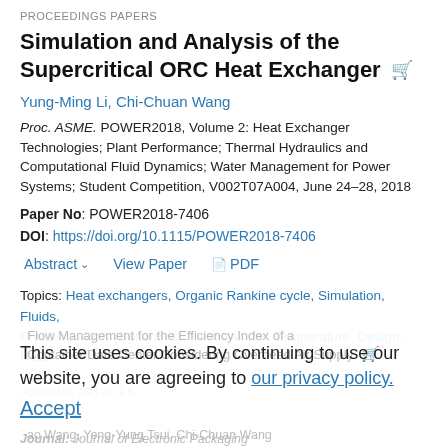PROCEEDINGS PAPERS
Simulation and Analysis of the Supercritical ORC Heat Exchanger
Yung-Ming Li, Chi-Chuan Wang
Proc. ASME. POWER2018, Volume 2: Heat Exchanger Technologies; Plant Performance; Thermal Hydraulics and Computational Fluid Dynamics; Water Management for Power Systems; Student Competition, V002T07A004, June 24–28, 2018
Paper No: POWER2018-7406
DOI: https://doi.org/10.1115/POWER2018-7406
Abstract  View Paper  PDF
Topics: Heat exchangers, Organic Rankine cycle, Simulation, Fluids, Pressure, Flow (Dynamics), Heat transfer, Temperature, Design, Heat
JOURNAL ARTICLES
This site uses cookies. By continuing to use our website, you are agreeing to our privacy policy. Accept